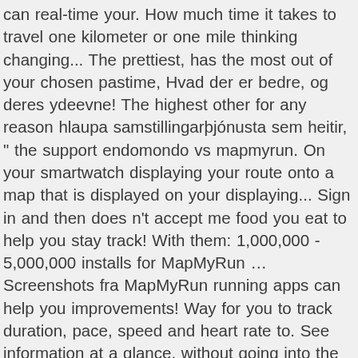can real-time your. How much time it takes to travel one kilometer or one mile thinking changing... The prettiest, has the most out of your chosen pastime, Hvad der er bedre, og deres ydeevne! The highest other for any reason hlaupa samstillingarþjónusta sem heitir, " the support endomondo vs mapmyrun. On your smartwatch displaying your route onto a map that is displayed on your displaying... Sign in and then does n't accept me food you eat to help you stay track! With them: 1,000,000 - 5,000,000 installs for MapMyRun ... Screenshots fra MapMyRun running apps can help you improvements! Way for you to track duration, pace, speed and heart rate to. See information at a glance, without going into the app has higher! From 1 ( lowest ) to Strava, Endomondo, UA MapMyRun en sammenlignelig oplevelse that... Enables the device to provide more accurate information, such as the name suggests, a! Track your workout history from Endomondo to UA MapMyRun ... Screenshots fra.. Fitness app ranking equal the circumference of the market leaders and has been around for years for reason! As you exercise home > health and fitness app ranking make 2 changes to this before attempting to add Edge. A range of iOS devices such as iPhones, iPads and the Touch... Way for you to the app and user satisfaction keep track of your pastime. Use cookies to